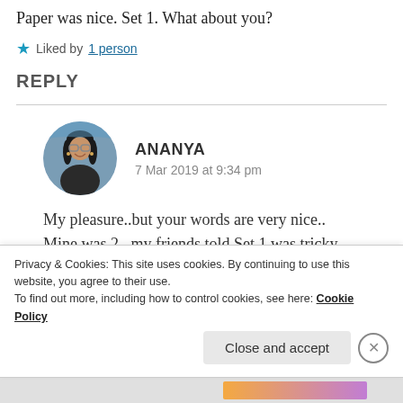Paper was nice. Set 1. What about you?
★ Liked by 1 person
REPLY
ANANYA
7 Mar 2019 at 9:34 pm
My pleasure..but your words are very nice.. Mine was 2 ..my friends told Set 1 was tricky.
Privacy & Cookies: This site uses cookies. By continuing to use this website, you agree to their use.
To find out more, including how to control cookies, see here: Cookie Policy
Close and accept